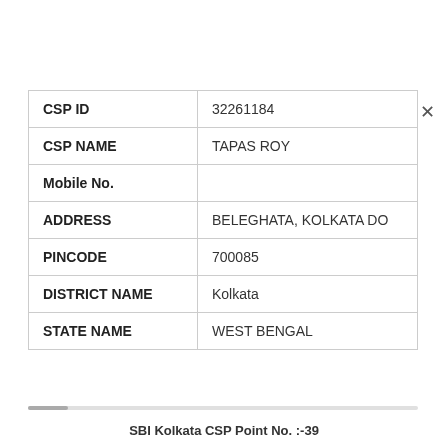| Field | Value |
| --- | --- |
| CSP ID | 32261184 |
| CSP NAME | TAPAS ROY |
| Mobile No. |  |
| ADDRESS | BELEGHATA, KOLKATA DO |
| PINCODE | 700085 |
| DISTRICT NAME | Kolkata |
| STATE NAME | WEST BENGAL |
SBI Kolkata CSP Point No. :-39